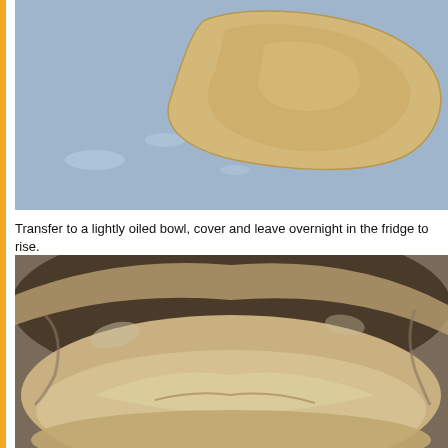[Figure (photo): Photo of bread dough on a blue surface, dough shaped into a rough mound]
Transfer to a lightly oiled bowl, cover and leave overnight in the fridge to rise.
[Figure (photo): Photo of risen bread dough in a dark oiled bowl, dough has expanded and risen]